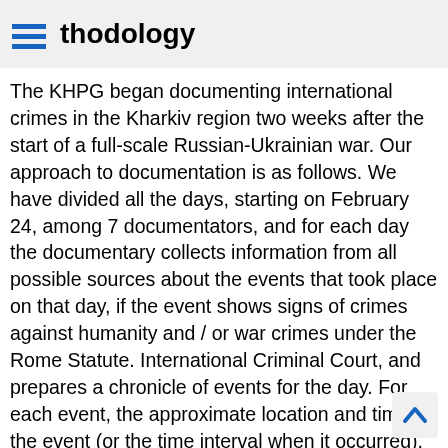thodology
The KHPG began documenting international crimes in the Kharkiv region two weeks after the start of a full-scale Russian-Ukrainian war. Our approach to documentation is as follows. We have divided all the days, starting on February 24, among 7 documentators, and for each day the documentary collects information from all possible sources about the events that took place on that day, if the event shows signs of crimes against humanity and / or war crimes under the Rome Statute. International Criminal Court, and prepares a chronicle of events for the day. For each event, the approximate location and time of the event (or the time interval when it occurred), as well as the sources from which the information about it was taken, are indicated. Daily chronicles are published on the KHPG portal https://khpg.org in the section "War Crimes", while all vulnerable information is removed for publication: exact addresses, personal data, etc. The most important feature of the chronicles is the maximum completeness and reliability of the information on the basis of which they are formed. Then, based on the information about each ev...